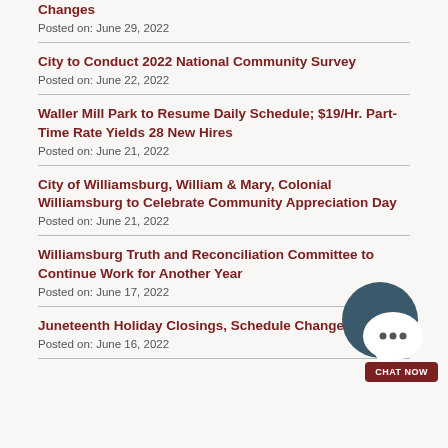Changes
Posted on: June 29, 2022
City to Conduct 2022 National Community Survey
Posted on: June 22, 2022
Waller Mill Park to Resume Daily Schedule; $19/Hr. Part-Time Rate Yields 28 New Hires
Posted on: June 21, 2022
City of Williamsburg, William & Mary, Colonial Williamsburg to Celebrate Community Appreciation Day
Posted on: June 21, 2022
Williamsburg Truth and Reconciliation Committee to Continue Work for Another Year
Posted on: June 17, 2022
Juneteenth Holiday Closings, Schedule Changes
Posted on: June 16, 2022